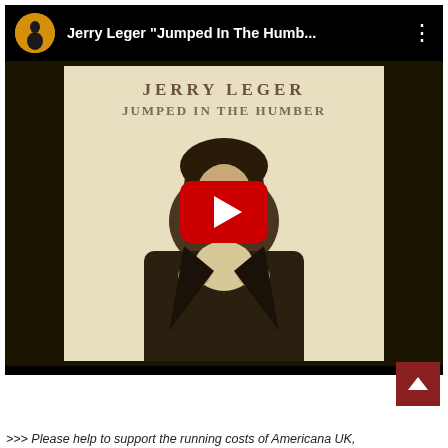[Figure (screenshot): YouTube video embed showing Jerry Leger 'Jumped In The Humber' album cover with a play button overlay. The thumbnail shows a sepia-toned album cover with the artist's name 'JERRY LEGER' and title 'JUMPED IN THE HUMBER' above a photo of a man in a jacket. A YouTube red play button is overlaid in the center. The video player header shows a circular avatar, the video title 'Jerry Leger "Jumped In The Humb..."', and a three-dot menu icon.]
>>> Please help to support the running costs of Americana UK,